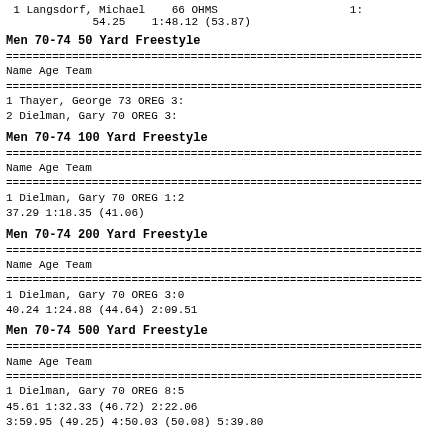1 Langsdorf, Michael   66 OHMS   1:
54.25    1:48.12 (53.87)
Men 70-74 50 Yard Freestyle
| Name | Age | Team | Time |
| --- | --- | --- | --- |
| 1 Thayer, George | 73 | OREG | 3: |
| 2 Dielman, Gary | 70 | OREG | 3: |
Men 70-74 100 Yard Freestyle
| Name | Age | Team | Time |
| --- | --- | --- | --- |
| 1 Dielman, Gary | 70 | OREG | 1:2 |
|  | 37.29 | 1:18.35 (41.06) |  |
Men 70-74 200 Yard Freestyle
| Name | Age | Team | Time |
| --- | --- | --- | --- |
| 1 Dielman, Gary | 70 | OREG | 3:0 |
|  | 40.24 | 1:24.88 (44.64) | 2:09.51 |
Men 70-74 500 Yard Freestyle
| Name | Age | Team | Time |
| --- | --- | --- | --- |
| 1 Dielman, Gary | 70 | OREG | 8:5 |
|  | 45.61 | 1:32.33 (46.72) | 2:22.06 |
|  | 3:59.95 (49.25) | 4:50.03 (50.08) | 5:39.80 |